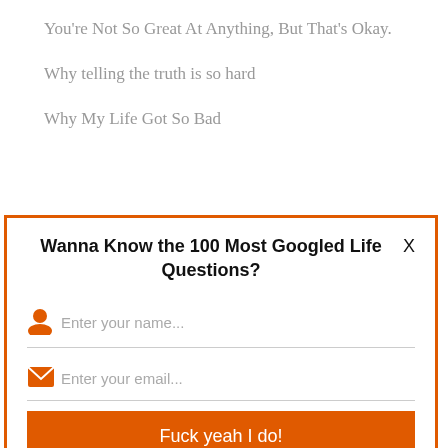You're Not So Great At Anything, But That's Okay.
Why telling the truth is so hard
Why My Life Got So Bad
Wanna Know the 100 Most Googled Life Questions?
Enter your name...
Enter your email...
Fuck yeah I do!